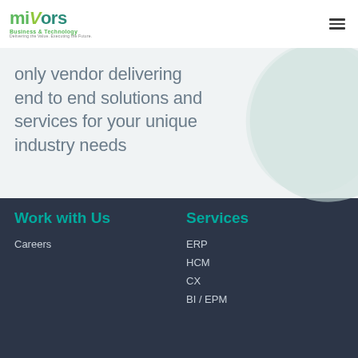[Figure (logo): mivors Business & Technology logo with tagline]
only vendor delivering end to end solutions and services for your unique industry needs
[Figure (illustration): Light teal organic blob shape in background]
Work with Us
Careers
Services
ERP
HCM
CX
BI / EPM